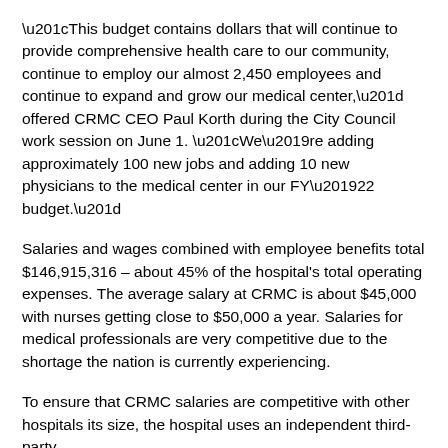“This budget contains dollars that will continue to provide comprehensive health care to our community, continue to employ our almost 2,450 employees and continue to expand and grow our medical center,” offered CRMC CEO Paul Korth during the City Council work session on June 1. “We’re adding approximately 100 new jobs and adding 10 new physicians to the medical center in our FY’22 budget.”
Salaries and wages combined with employee benefits total $146,915,316 – about 45% of the hospital's total operating expenses. The average salary at CRMC is about $45,000 with nurses getting close to $50,000 a year. Salaries for medical professionals are very competitive due to the shortage the nation is currently experiencing.
To ensure that CRMC salaries are competitive with other hospitals its size, the hospital uses an independent third-party